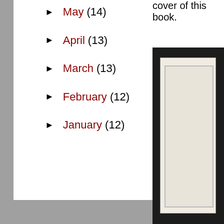cover of this book.
► May (14)
► April (13)
► March (13)
► February (12)
► January (12)
[Figure (photo): Black cover of a book with a framed image on the front, partially visible on the right side of the page.]